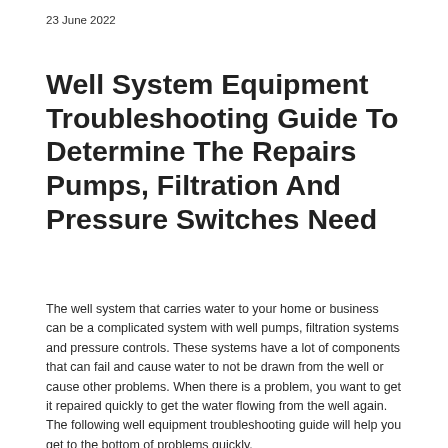23 June 2022
Well System Equipment Troubleshooting Guide To Determine The Repairs Pumps, Filtration And Pressure Switches Need
The well system that carries water to your home or business can be a complicated system with well pumps, filtration systems and pressure controls. These systems have a lot of components that can fail and cause water to not be drawn from the well or cause other problems. When there is a problem, you want to get it repaired quickly to get the water flowing from the well again. The following well equipment troubleshooting guide will help you get to the bottom of problems quickly.